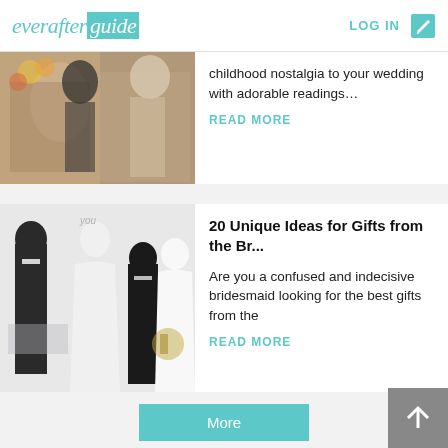everafterguide   LOG IN
childhood nostalgia to your wedding with adorable readings…
READ MORE
20 Unique Ideas for Gifts from the Br...
Are you a confused and indecisive bridesmaid looking for the best gifts from the
READ MORE
More